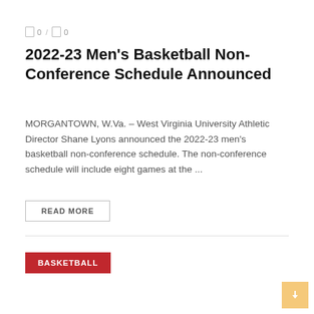0 / 0
2022-23 Men's Basketball Non-Conference Schedule Announced
MORGANTOWN, W.Va. – West Virginia University Athletic Director Shane Lyons announced the 2022-23 men's basketball non-conference schedule. The non-conference schedule will include eight games at the ...
READ MORE
BASKETBALL